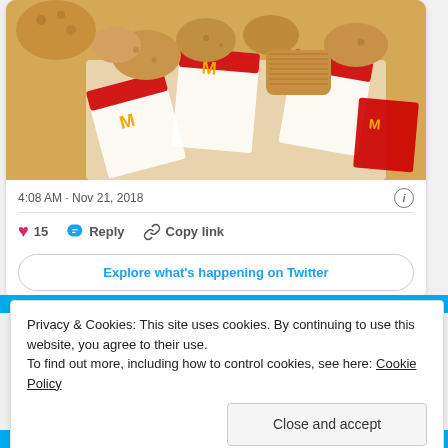[Figure (photo): Photo of McDonald's chicken nuggets and hash browns spilling out of McDonald's branded paper wrappers, scattered across a white background.]
4:08 AM · Nov 21, 2018
15  Reply  Copy link
Explore what's happening on Twitter
Privacy & Cookies: This site uses cookies. By continuing to use this website, you agree to their use.
To find out more, including how to control cookies, see here: Cookie Policy
Close and accept